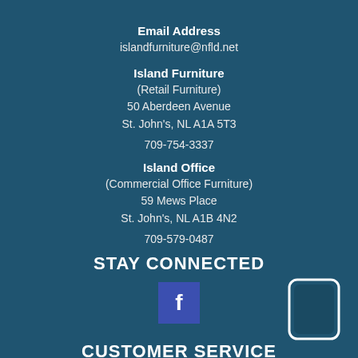Email Address
islandfurniture@nfld.net
Island Furniture
(Retail Furniture)
50 Aberdeen Avenue
St. John's, NL A1A 5T3
709-754-3337
Island Office
(Commercial Office Furniture)
59 Mews Place
St. John's, NL A1B 4N2
709-579-0487
STAY CONNECTED
[Figure (logo): Facebook logo icon - white f on blue/purple square background]
CUSTOMER SERVICE
Contact Us
[Figure (illustration): Smartphone/phone icon outline in white, positioned bottom right]